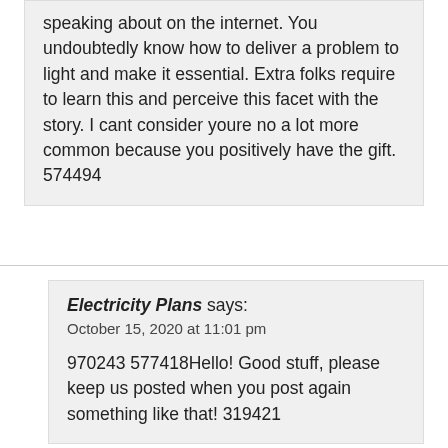speaking about on the internet. You undoubtedly know how to deliver a problem to light and make it essential. Extra folks require to learn this and perceive this facet with the story. I cant consider youre no a lot more common because you positively have the gift. 574494
Electricity Plans says:
October 15, 2020 at 11:01 pm

970243 577418Hello! Good stuff, please keep us posted when you post again something like that! 319421